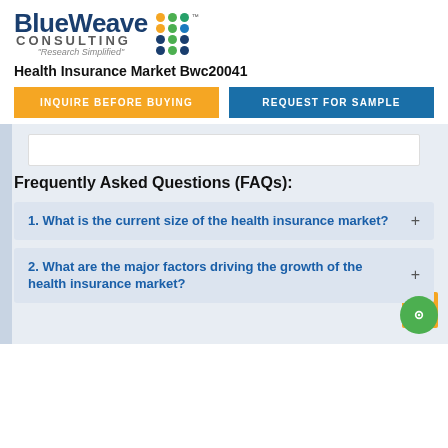[Figure (logo): BlueWeave Consulting logo with colored dots grid and tagline 'Research Simplified']
Health Insurance Market Bwc20041
INQUIRE BEFORE BUYING
REQUEST FOR SAMPLE
Frequently Asked Questions (FAQs):
1. What is the current size of the health insurance market?
2. What are the major factors driving the growth of the health insurance market?